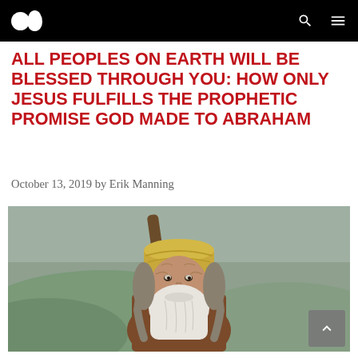Medium-style blog site header with logo and navigation icons
ALL PEOPLES ON EARTH WILL BE BLESSED THROUGH YOU: HOW ONLY JESUS FULFILLS THE PROPHETIC PROMISE GOD MADE TO ABRAHAM
October 13, 2019 by Erik Manning
[Figure (photo): Photo of an elderly man portraying Abraham, wearing a yellow/gold turban and holding a wooden staff, with a long white beard, looking upward against a hilly background.]